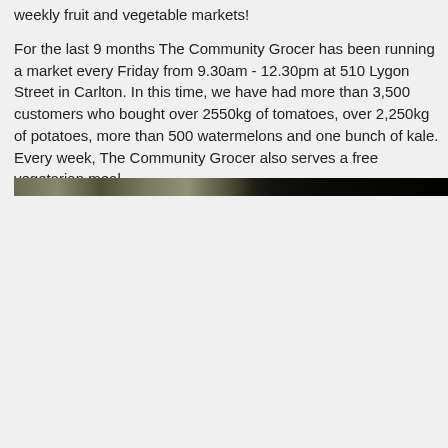weekly fruit and vegetable markets!
For the last 9 months The Community Grocer has been running a market every Friday from 9.30am - 12.30pm at 510 Lygon Street in Carlton. In this time, we have had more than 3,500 customers who bought over 2550kg of tomatoes, over 2,250kg of potatoes, more than 500 watermelons and one bunch of kale. Every week, The Community Grocer also serves a free vegetarian meal.
[Figure (photo): Partial view of a market scene, cropped strip showing outdoor stalls or produce]